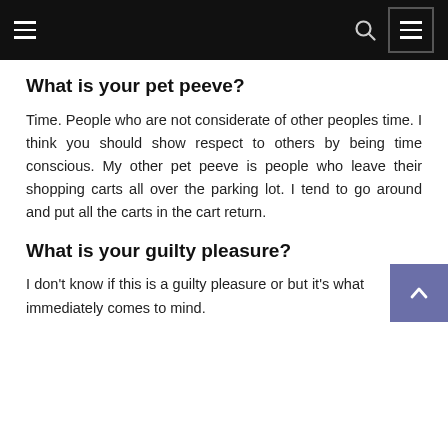Navigation bar with hamburger menu, search icon, and menu button
What is your pet peeve?
Time. People who are not considerate of other peoples time. I think you should show respect to others by being time conscious. My other pet peeve is people who leave their shopping carts all over the parking lot. I tend to go around and put all the carts in the cart return.
What is your guilty pleasure?
I don't know if this is a guilty pleasure or but it's what immediately comes to mind.